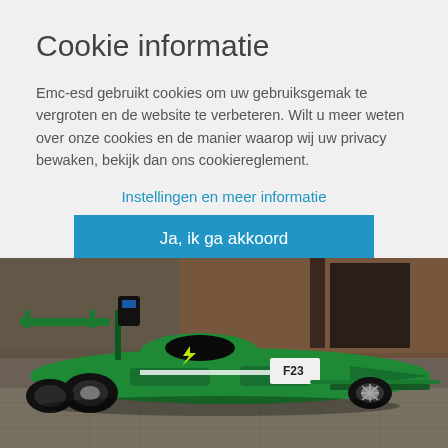Cookie informatie
Emc-esd gebruikt cookies om uw gebruiksgemak te vergroten en de website te verbeteren. Wilt u meer weten over onze cookies en de manier waarop wij uw privacy bewaken, bekijk dan ons cookiereglement.
Instellingen en meer informatie
Ja, ik ga akkoord
[Figure (photo): Green open-wheel formula-style electric racing car (number F23) parked on cobblestones in front of an old brick building, photographed from a low front-side angle.]